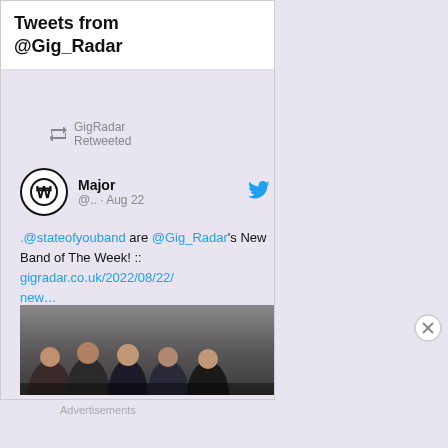Tweets from @Gig_Radar
GigRadar Retweeted
Major @.. · Aug 22
.@stateofyouband are @Gig_Radar's New Band of The Week! :: gigradar.co.uk/2022/08/22/new…
[Figure (photo): Group photo of five men posing together in front of a concrete wall]
Advertisements